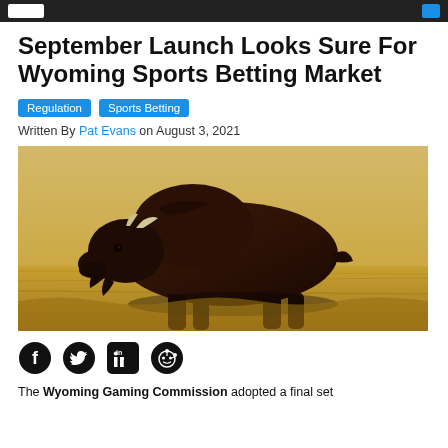[Site header bar with logo and icon]
September Launch Looks Sure For Wyoming Sports Betting Market
Regulation   Sports Betting
Written By Pat Evans on August 3, 2021
[Figure (photo): A large bison walking across a golden prairie grassland field, side profile view, dark brown fur, prominent hump and horns.]
Social share icons: Facebook, Twitter, LinkedIn, Reddit
The Wyoming Gaming Commission adopted a final set